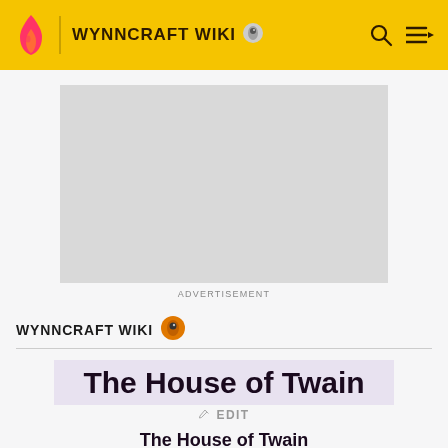WYNNCRAFT WIKI
[Figure (other): Advertisement placeholder grey rectangle]
ADVERTISEMENT
WYNNCRAFT WIKI
The House of Twain
EDIT
The House of Twain